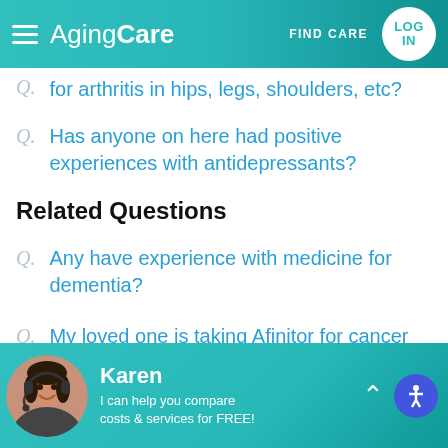AgingCare — FIND CARE — LOG IN
Q. Any topical arthritis cream that works for arthritis in hips, legs, shoulders, etc?
Q. Has anyone on here had positive experiences with antidepressants?
Related Questions
Q. Any have experience with medicine for dementia?
Q. My loved one is taking Afinitor for cancer and she sleeps day and night
Karen — I can help you compare costs & services for FREE!